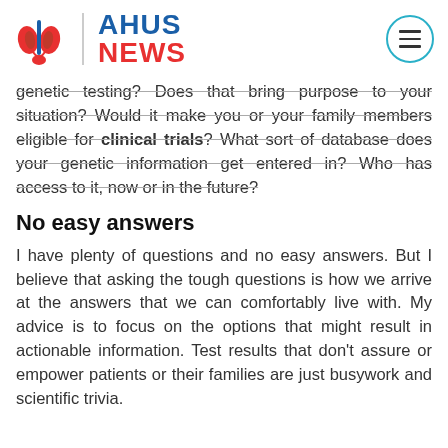AHUS NEWS
genetic testing? Does that bring purpose to your situation? Would it make you or your family members eligible for clinical trials? What sort of database does your genetic information get entered in? Who has access to it, now or in the future?
No easy answers
I have plenty of questions and no easy answers. But I believe that asking the tough questions is how we arrive at the answers that we can comfortably live with. My advice is to focus on the options that might result in actionable information. Test results that don't assure or empower patients or their families are just busywork and scientific trivia.